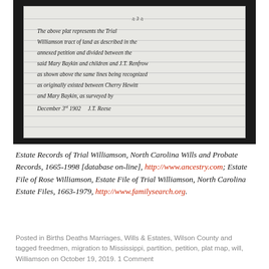[Figure (photo): Scanned handwritten document on lined paper, reading: 'The above plat represents the Trial Williamson tract of land as described in the annexed petition and divided between the said Mary Baykin and children and J.T. Renfrow as shown above the same lines being recognized as originally existed between Cherry Hewitt and Mary Baykin, as surveyed by December 3rd 1902  J.T. Reese']
Estate Records of Trial Williamson, North Carolina Wills and Probate Records, 1665-1998 [database on-line], http://www.ancestry.com; Estate File of Rose Williamson, Estate File of Trial Williamson, North Carolina Estate Files, 1663-1979, http://www.familysearch.org.
Posted in Births Deaths Marriages, Wills & Estates, Wilson County and tagged freedmen, migration to Mississippi, partition, petition, plat map, will, Williamson on October 19, 2019. 1 Comment